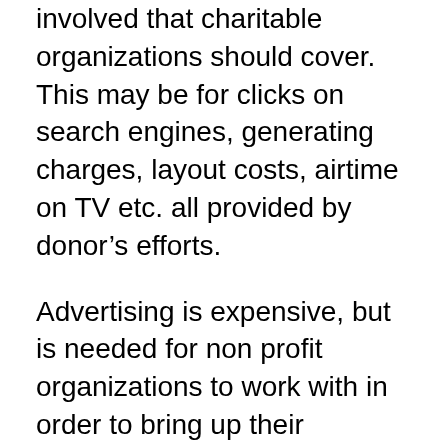involved that charitable organizations should cover. This may be for clicks on search engines, generating charges, layout costs, airtime on TV etc. all provided by donor's efforts.
Advertising is expensive, but is needed for non profit organizations to work with in order to bring up their particular profile and also to stick out amongst the other non profit organizations in the UK.
Inspired by: ezinearticles